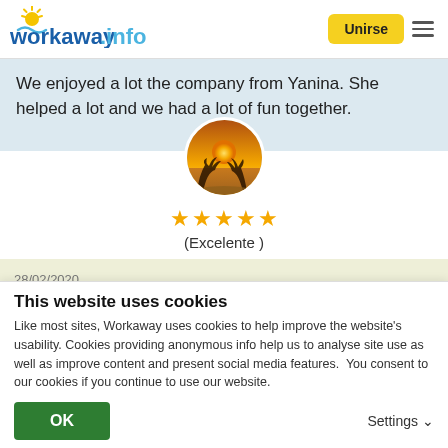workaway.info — Unirse
We enjoyed a lot the company from Yanina. She helped a lot and we had a lot of fun together.
[Figure (photo): Circular profile photo showing a sunset beach scene with palm trees silhouetted against an orange sky]
★★★★★ (Excelente )
28/02/2020
Dejado por el workawayer (Yanina) para el anfitrión
This website uses cookies
Like most sites, Workaway uses cookies to help improve the website's usability. Cookies providing anonymous info help us to analyse site use as well as improve content and present social media features.  You consent to our cookies if you continue to use our website.
OK   Settings